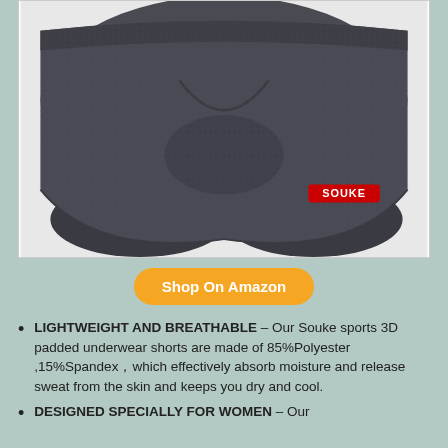[Figure (photo): Close-up product photo of dark gray cycling padded underwear shorts with textured fabric and a red SOUKE logo on the lower right leg.]
Shop On Amazon
LIGHTWEIGHT AND BREATHABLE – Our Souke sports 3D padded underwear shorts are made of 85%Polyester ,15%Spandex，which effectively absorb moisture and release sweat from the skin and keeps you dry and cool.
DESIGNED SPECIALLY FOR WOMEN – Our